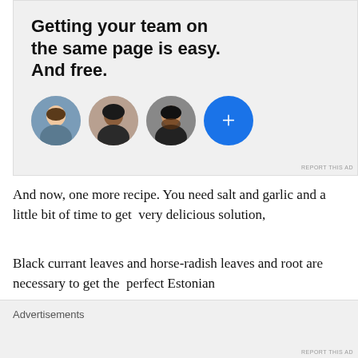[Figure (screenshot): Advertisement banner with bold text 'Getting your team on the same page is easy. And free.' and three circular profile photos plus a blue circle with a plus sign]
And now, one more recipe. You need salt and garlic and a little bit of time to get  very delicious solution,
Black currant leaves and horse-radish leaves and root are necessary to get the  perfect Estonian
Advertisements